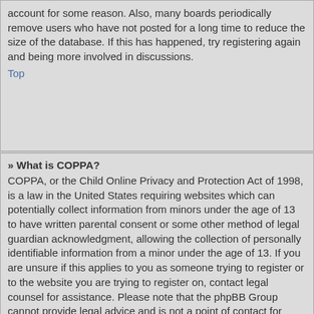account for some reason. Also, many boards periodically remove users who have not posted for a long time to reduce the size of the database. If this has happened, try registering again and being more involved in discussions.
Top
» What is COPPA?
COPPA, or the Child Online Privacy and Protection Act of 1998, is a law in the United States requiring websites which can potentially collect information from minors under the age of 13 to have written parental consent or some other method of legal guardian acknowledgment, allowing the collection of personally identifiable information from a minor under the age of 13. If you are unsure if this applies to you as someone trying to register or to the website you are trying to register on, contact legal counsel for assistance. Please note that the phpBB Group cannot provide legal advice and is not a point of contact for legal concerns of any kind, except as outlined below.
Top
» Why can't I register?
It is possible the website owner has banned your IP address or disallowed the username you are attempting to register. The website owner could have also disabled registration to prevent new visitors from signing up. Contact a board administrator for assistance.